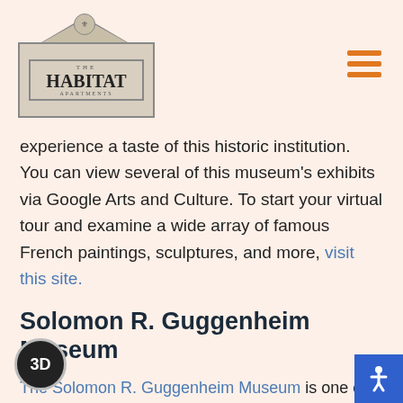THE HABITAT APARTMENTS
experience a taste of this historic institution. You can view several of this museum's exhibits via Google Arts and Culture. To start your virtual tour and examine a wide array of famous French paintings, sculptures, and more, visit this site.
Solomon R. Guggenheim Museum
The Solomon R. Guggenheim Museum is one of the most beloved museums in America. Whether you prefer virtual tours or audio guides, you'll find options to suit your